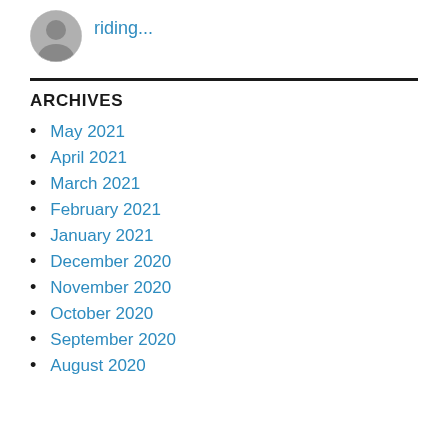[Figure (photo): Circular avatar photo of a person in grayscale]
riding...
May 2021
April 2021
March 2021
February 2021
January 2021
December 2020
November 2020
October 2020
September 2020
August 2020